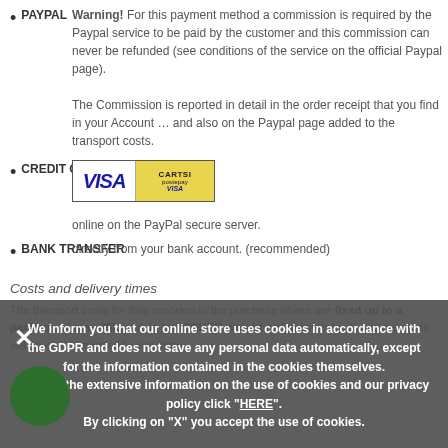PAYPAL
Warning! For this payment method a commission is required by the Paypal service to be paid by the customer and this commission can never be refunded (see conditions of the service on the official Paypal page). The Commission is reported in detail in the order receipt that you find in your Account ... and also on the Paypal page added to the transport costs.
CREDIT CARD
[Figure (illustration): Visa and CartaSi/Postepay credit card logos side by side]
online on the PayPal secure server.
BANK TRANSFER
directly from your bank account. (recommended)
Costs and delivery times
The transport costs for Italy reported in the purchase phase are fixed up to a package of max 45kg, while for HIGHER weight and shipments abroad the costs will be communicated to you later.
We inform you that our online store uses cookies in accordance with the GDPR and does not save any personal data automatically, except for the information contained in the cookies themselves. To view the extensive information on the use of cookies and our privacy policy click "HERE". By clicking on "X" you accept the use of cookies.